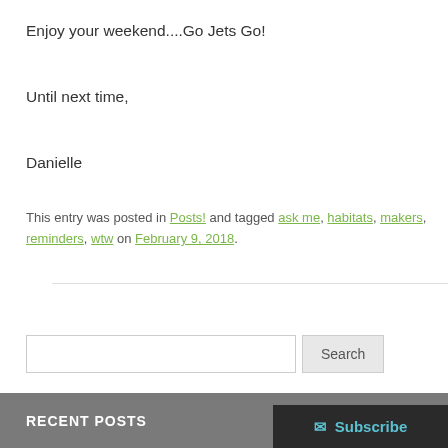Enjoy your weekend....Go Jets Go!
Until next time,
Danielle
This entry was posted in Posts! and tagged ask me, habitats, makers, reminders, wtw on February 9, 2018.
Search
RECENT POSTS
Subscribe